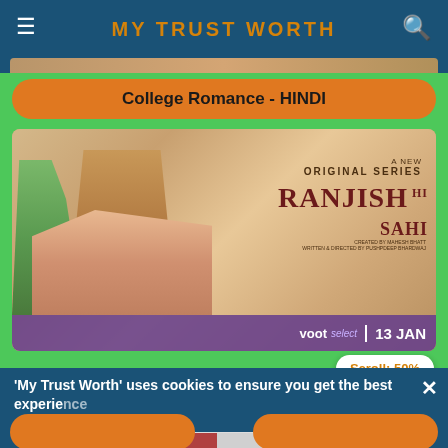MY TRUST WORTH
College Romance - HINDI
[Figure (photo): Promotional poster for 'Ranjish Hi Sahi', a new original series on Voot Select premiering 13 Jan. Shows three characters — a woman in green saree on left, a man with camera in center, and a woman in foreground. Text reads: A NEW ORIGINAL SERIES, RANJISH HI SAHI, voot select | 13 JAN]
'My Trust Worth' uses cookies to ensure you get the best experience
[Figure (screenshot): Advertisement banner with PRICE DROP label, showing screening supplies products including frames and containers from ScreeningSuppliesStore.com]